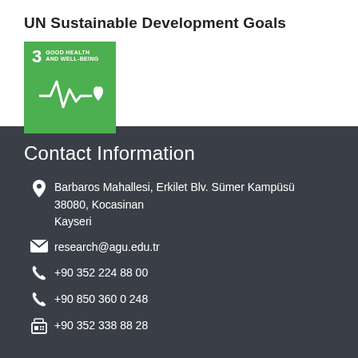UN Sustainable Development Goals
[Figure (logo): UN SDG Goal 3 badge: green square with number 3, text GOOD HEALTH AND WELL-BEING, and a heartbeat/health icon]
Contact Information
Barbaros Mahallesi, Erkilet Blv. Sümer Kampüsü
38080, Kocasinan
Kayseri
research@agu.edu.tr
+90 352 224 88 00
+90 850 360 0 248
+90 352 338 88 28